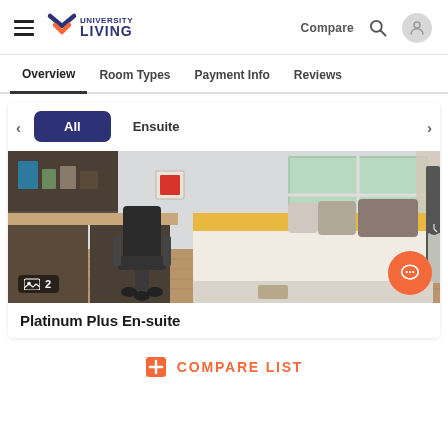University Living — Compare, Search, User
Overview
Room Types
Payment Info
Reviews
[Figure (screenshot): Room type filter buttons: All (selected, dark navy), Ensuite. Navigation arrows on each side.]
[Figure (photo): Interior photo of a student en-suite room showing a desk with ergonomic chair, platform bed with white bedding and grey/brown pillows, shelving, and a window. Image count badge shows 2.]
Platinum Plus En-suite
COMPARE LIST